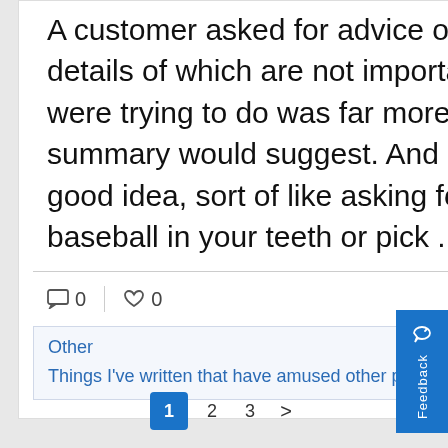A customer asked for advice on how to accomplish something, the details of which are not important, except to say that what they were trying to do was far more complicated than the twenty-word summary would suggest. And I wasn't convinced that it was a good idea, sort of like asking for advice on how to catch a baseball in your teeth or pick ...
0   0
Other
Things I've written that have amused other people
1  2  3  >